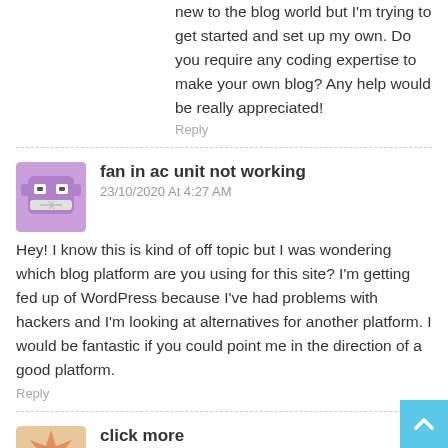new to the blog world but I'm trying to get started and set up my own. Do you require any coding expertise to make your own blog? Any help would be really appreciated!
Reply
fan in ac unit not working
23/10/2020 At 4:27 AM
Hey! I know this is kind of off topic but I was wondering which blog platform are you using for this site? I'm getting fed up of WordPress because I've had problems with hackers and I'm looking at alternatives for another platform. I would be fantastic if you could point me in the direction of a good platform.
Reply
click more
22/10/2020 At 4:09 PM